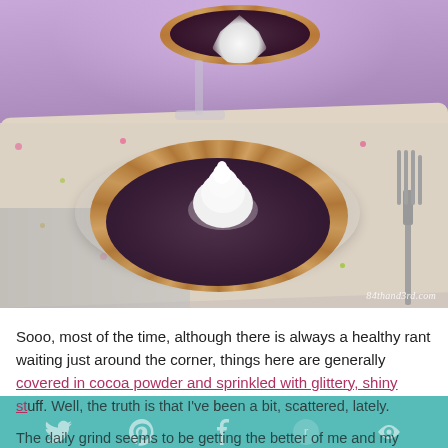[Figure (photo): A small chocolate tart with a crinkled golden-brown crust filled with dark purple/chocolate ganache, topped with a swirl of white cream/meringue. The tart sits on a clear glass plate, placed on a floral tablecloth. A silver fork is to the right. In the background is a glass cake stand with another tart. Purple fabric backdrop. Watermark '84thand3rd.com' in bottom right.]
Sooo, most of the time, although there is always a healthy rant waiting just around the corner, things here are generally covered in cocoa powder and sprinkled with glittery, shiny stuff. Well, the truth is that I've been a bit, scattered, lately. The daily grind seems to be getting the better of me and my